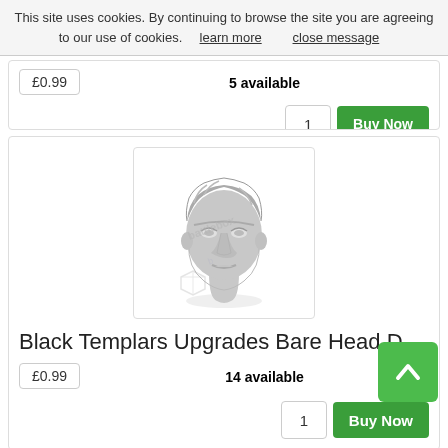This site uses cookies. By continuing to browse the site you are agreeing to our use of cookies.  learn more     close message
£0.99
5 available
1
Buy Now
[Figure (photo): Miniature bare head sculpt (Black Templars style, grey resin) with watermark logo overlay]
Black Templars Upgrades Bare Head D
£0.99
14 available
1
Buy Now